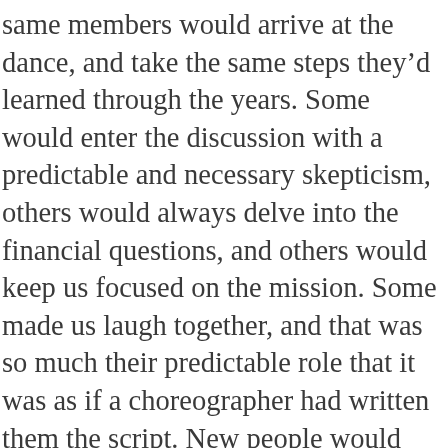same members would arrive at the dance, and take the same steps they'd learned through the years. Some would enter the discussion with a predictable and necessary skepticism, others would always delve into the financial questions, and others would keep us focused on the mission. Some made us laugh together, and that was so much their predictable role that it was as if a choreographer had written them the script. New people would join us and they'd dance in styles we'd never seen, sometimes stepping on the toes of others!  We all performed our steps, and someone looking down from the balcony would have applauded the intricacy, energy, and creativity we sometimes displayed. We'd finish exhausted and exhilarated, and we'd eagerly make plans for the next dance and the next time we'd meet to decide something else.